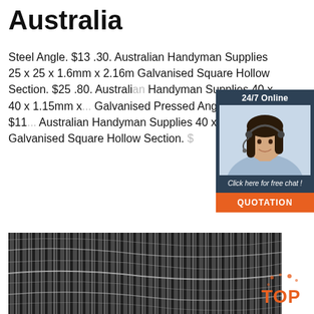Australia
Steel Angle. $13 .30. Australian Handyman Supplies 25 x 25 x 1.6mm x 2.16m Galvanised Square Hollow Section. $25 .80. Australian Handyman Supplies 40 x 40 x 1.15mm x Galvanised Pressed Angle. $17 .80. $11 Australian Handyman Supplies 40 x 40 x 2m Galvanised Square Hollow Section. $
[Figure (other): Customer service agent with headset, 24/7 Online chat widget with blue background, orange QUOTATION button]
[Figure (photo): Close-up photo of coiled steel wire rods, black and white metallic texture]
[Figure (other): TOP badge logo in orange with dots]